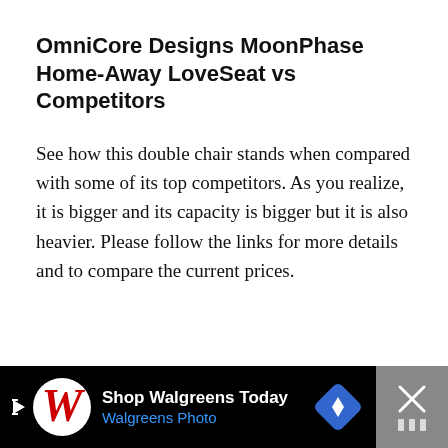OmniCore Designs MoonPhase Home-Away LoveSeat vs Competitors
See how this double chair stands when compared with some of its top competitors. As you realize, it is bigger and its capacity is bigger but it is also heavier. Please follow the links for more details and to compare the current prices.
[Figure (other): Walgreens advertisement banner at bottom of page. Black background with Walgreens cursive W logo in red/blue, text 'Shop Walgreens Today' and 'Walgreens Photo' in blue, a blue navigation diamond icon, and a gray close button with X symbol.]